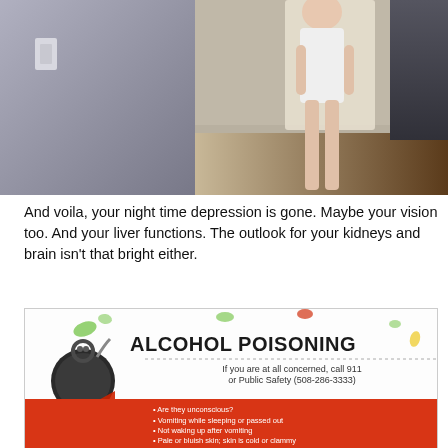[Figure (photo): Photo of a person in a white dress/outfit standing in a hallway or doorway area. Left side shows a plain wall with a light switch, right side shows a darker hallway with wood flooring.]
And voila, your night time depression is gone. Maybe your vision too. And your liver functions. The outlook for your kidneys and brain isn't that bright either.
[Figure (infographic): Alcohol Poisoning infographic. If you are at all concerned, call 911 or Public Safety (508-286-3333). Lists warning signs including: Are they unconscious? Vomiting while sleeping or passed out. Not waking up after vomiting. Pale or bluish skin; skin is cold or clammy. Slow or irregular breathing with a few breaths. Danger! label with poison/bomb icon.]